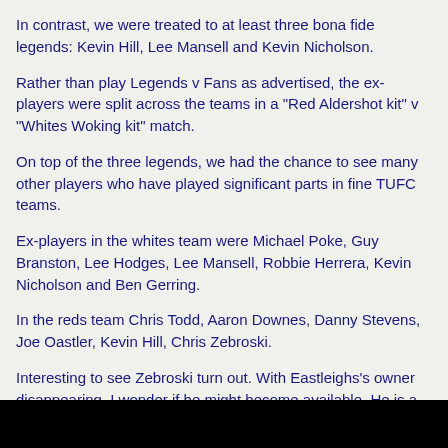In contrast, we were treated to at least three bona fide legends: Kevin Hill, Lee Mansell and Kevin Nicholson.
Rather than play Legends v Fans as advertised, the ex-players were split across the teams in a "Red Aldershot kit" v "Whites Woking kit" match.
On top of the three legends, we had the chance to see many other players who have played significant parts in fine TUFC teams.
Ex-players in the whites team were Michael Poke, Guy Branston, Lee Hodges, Lee Mansell, Robbie Herrera, Kevin Nicholson and Ben Gerring.
In the reds team Chris Todd, Aaron Downes, Danny Stevens, Joe Oastler, Kevin Hill, Chris Zebroski.
Interesting to see Zebroski turn out. With Eastleighs's owner disappearing, I wonder if he might become available. He is a player whose style and workrate would surely reap dividends in National League South.
The result does not matter. Whites went ahead through a Nicholson screamer. Zebroski equalised. Whites then went 3-1 ahead but were pegged back to 3-3.
Quite a decent attendance - higher than quite a few National League South teams get for league matches.